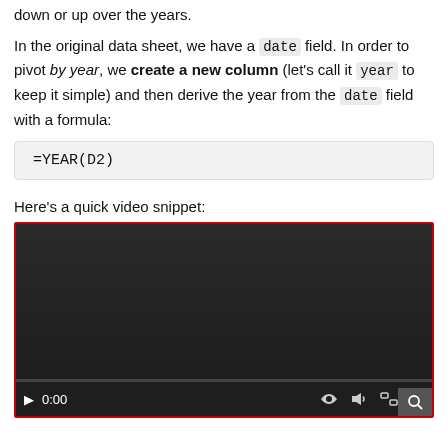down or up over the years.
In the original data sheet, we have a date field. In order to pivot by year, we create a new column (let's call it year to keep it simple) and then derive the year from the date field with a formula:
Here's a quick video snippet:
[Figure (screenshot): Embedded video player with dark background showing 0:00 timestamp, play button, volume icon, fullscreen icon, and options icon. Red border around player.]